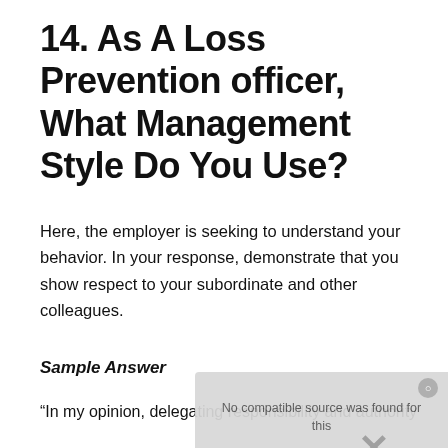14. As A Loss Prevention officer, What Management Style Do You Use?
Here, the employer is seeking to understand your behavior. In your response, demonstrate that you show respect to your subordinate and other colleagues.
Sample Answer
“In my opinion, delegating responsibility and authority
[Figure (screenshot): Video overlay showing 'No compatible source was found for this' message with text 'SHOULD WE HIRE YOU? 5 Best Answers' and a close button]